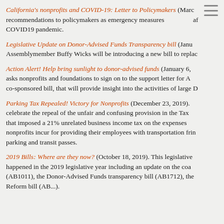California's nonprofits and COVID-19: Letter to Policymakers (March ...) recommendations to policymakers as emergency measures ... af... COVID19 pandemic.
Legislative Update on Donor-Advised Funds Transparency bill (Janu...) Assemblymember Buffy Wicks will be introducing a new bill to replac...
Action Alert! Help bring sunlight to donor-advised funds (January 6, ...) asks nonprofits and foundations to sign on to the support letter for A... co-sponsored bill, that will provide insight into the activities of large D...
Parking Tax Repealed! Victory for Nonprofits (December 23, 2019). ... celebrate the repeal of the unfair and confusing provision in the Tax ... that imposed a 21% unrelated business income tax on the expenses... nonprofits incur for providing their employees with transportation frin... parking and transit passes.
2019 Bills: Where are they now? (October 18, 2019). This legislative... happened in the 2019 legislative year including an update on the coa... (AB1011), the Donor-Advised Funds transparency bill (AB1712), the... Reform bill (AB...). Also included is an update...